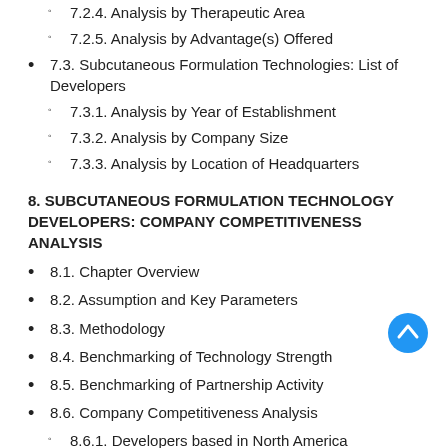7.2.4. Analysis by Therapeutic Area
7.2.5. Analysis by Advantage(s) Offered
7.3. Subcutaneous Formulation Technologies: List of Developers
7.3.1. Analysis by Year of Establishment
7.3.2. Analysis by Company Size
7.3.3. Analysis by Location of Headquarters
8. SUBCUTANEOUS FORMULATION TECHNOLOGY DEVELOPERS: COMPANY COMPETITIVENESS ANALYSIS
8.1. Chapter Overview
8.2. Assumption and Key Parameters
8.3. Methodology
8.4. Benchmarking of Technology Strength
8.5. Benchmarking of Partnership Activity
8.6. Company Competitiveness Analysis
8.6.1. Developers based in North America
8.6.2. Developers based in Europe and Asia
9. SUBCUTANEOUS FORMULATION TECHNOLOGY